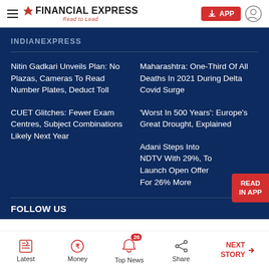FINANCIAL EXPRESS — Read to Lead
INDIANEXPRESS
Nitin Gadkari Unveils Plan: No Plazas, Cameras To Read Number Plates, Deduct Toll
Maharashtra: One-Third Of All Deaths In 2021 During Delta Covid Surge
CUET Glitches: Fewer Exam Centres, Subject Combinations Likely Next Year
'Worst In 500 Years': Europe's Great Drought, Explained
Adani Steps Into NDTV With 29%, To Launch Open Offer For 26% More
FOLLOW US
Latest  Money  Top News  Share  NEXT STORY